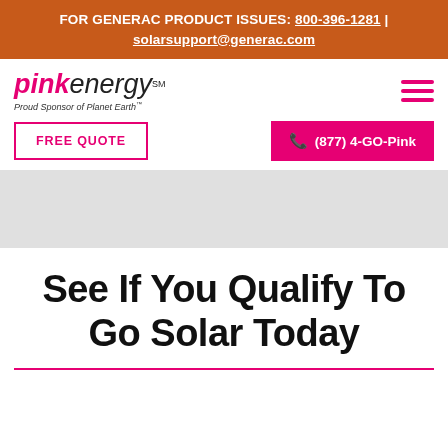FOR GENERAC PRODUCT ISSUES: 800-396-1281 | solarsupport@generac.com
[Figure (logo): Pink Energy logo with tagline 'Proud Sponsor of Planet Earth']
FREE QUOTE
(877) 4-GO-Pink
See If You Qualify To Go Solar Today